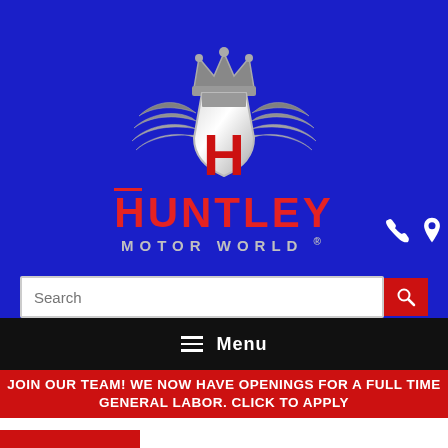[Figure (logo): Huntley Motor World logo: a shield with winged sides and a crown on top, featuring a large red H in the center on a white/silver shield, with silver wings and a gray crown, on a blue background. Below the shield is the text HUNTLEY in large red bold letters and MOTOR WORLD in silver spaced letters.]
Menu
JOIN OUR TEAM! WE NOW HAVE OPENINGS FOR A FULL TIME GENERAL LABOR. CLICK TO APPLY
TEXT US
Low Pro Dump Trailer